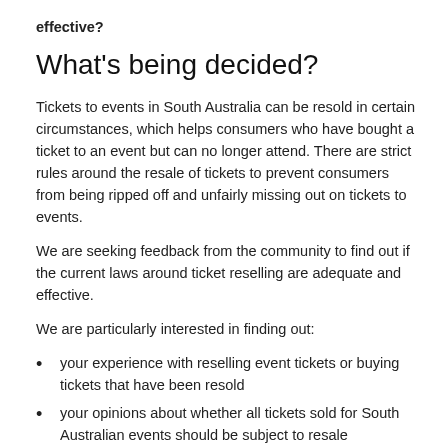effective?
What's being decided?
Tickets to events in South Australia can be resold in certain circumstances, which helps consumers who have bought a ticket to an event but can no longer attend. There are strict rules around the resale of tickets to prevent consumers from being ripped off and unfairly missing out on tickets to events.
We are seeking feedback from the community to find out if the current laws around ticket reselling are adequate and effective.
We are particularly interested in finding out:
your experience with reselling event tickets or buying tickets that have been resold
your opinions about whether all tickets sold for South Australian events should be subject to resale restrictions and who should be able